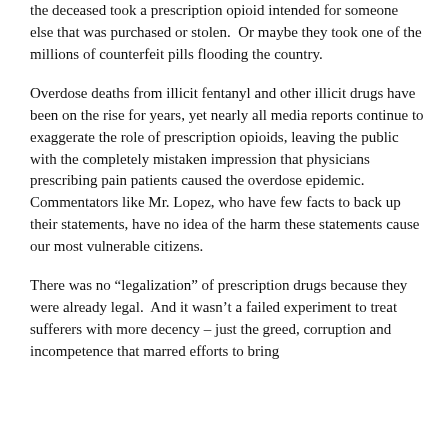the deceased took a prescription opioid intended for someone else that was purchased or stolen.  Or maybe they took one of the millions of counterfeit pills flooding the country.
Overdose deaths from illicit fentanyl and other illicit drugs have been on the rise for years, yet nearly all media reports continue to exaggerate the role of prescription opioids, leaving the public with the completely mistaken impression that physicians prescribing pain patients caused the overdose epidemic.  Commentators like Mr. Lopez, who have few facts to back up their statements, have no idea of the harm these statements cause our most vulnerable citizens.
There was no “legalization” of prescription drugs because they were already legal.  And it wasn’t a failed experiment to treat sufferers with more decency – just the greed, corruption and incompetence that marred efforts to bring